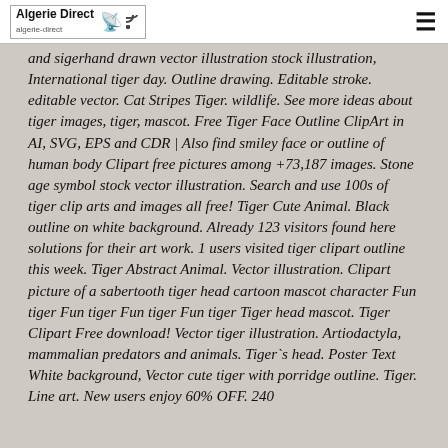Algerie Direct
and sigerhand drawn vector illustration stock illustration, International tiger day. Outline drawing. Editable stroke. editable vector. Cat Stripes Tiger. wildlife. See more ideas about tiger images, tiger, mascot. Free Tiger Face Outline ClipArt in AI, SVG, EPS and CDR | Also find smiley face or outline of human body Clipart free pictures among +73,187 images. Stone age symbol stock vector illustration. Search and use 100s of tiger clip arts and images all free! Tiger Cute Animal. Black outline on white background. Already 123 visitors found here solutions for their art work. 1 users visited tiger clipart outline this week. Tiger Abstract Animal. Vector illustration. Clipart picture of a sabertooth tiger head cartoon mascot character Fun tiger Fun tiger Fun tiger Fun tiger Tiger head mascot. Tiger Clipart Free download! Vector tiger illustration. Artiodactyla, mammalian predators and animals. Tiger`s head. Poster Text White background, Vector cute tiger with porridge outline. Tiger. Line art. New users enjoy 60% OFF. 240